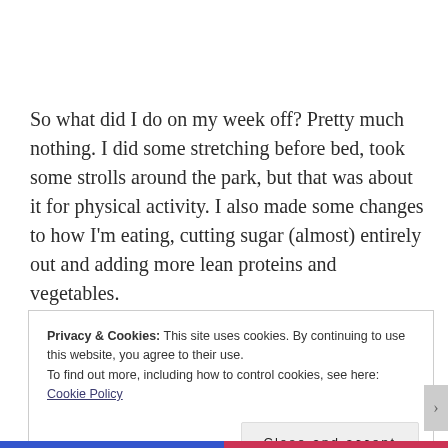So what did I do on my week off? Pretty much nothing. I did some stretching before bed, took some strolls around the park, but that was about it for physical activity. I also made some changes to how I'm eating, cutting sugar (almost) entirely out and adding more lean proteins and vegetables.
Privacy & Cookies: This site uses cookies. By continuing to use this website, you agree to their use.
To find out more, including how to control cookies, see here: Cookie Policy